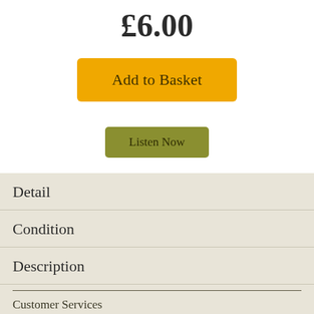£6.00
Add to Basket
Listen Now
Detail
Condition
Description
Customer Services
Explore